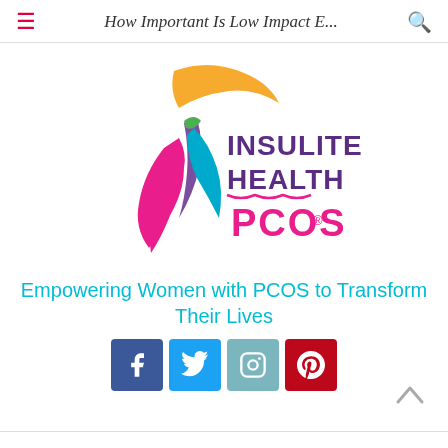How Important Is Low Impact E...
[Figure (logo): Insulite Health PCOS logo with stylized dancing woman figure in pink, orange, blue, purple and green colors, with text INSULITE HEALTH PCOS®]
Empowering Women with PCOS to Transform Their Lives
[Figure (infographic): Social media icons row: Facebook (blue), Twitter (light blue), Instagram (grayish blue), Pinterest (red)]